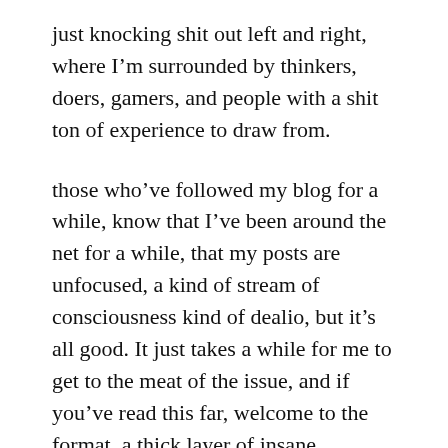just knocking shit out left and right, where I'm surrounded by thinkers, doers, gamers, and people with a shit ton of experience to draw from.
those who've followed my blog for a while, know that I've been around the net for a while, that my posts are unfocused, a kind of stream of consciousness kind of dealio, but it's all good. It just takes a while for me to get to the meat of the issue, and if you've read this far, welcome to the format, a thick layer of insane ramblings, and underneath the prospect of learning something deeper about me. Maybe, just maybe, I shouldn't build a squirrel launching catapult.